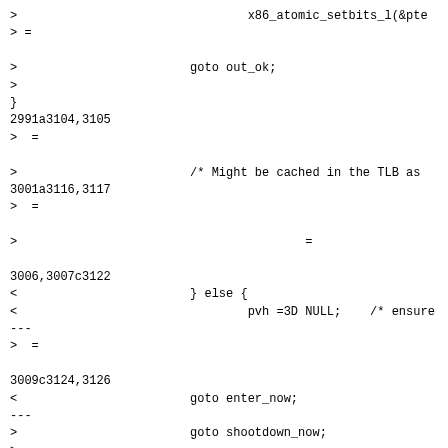>                                x86_atomic_setbits_l(&pte
> =

>                        goto out_ok;
>
}
2991a3104,3105
> =

>                        /* Might be cached in the TLB as
3001a3116,3117
> =

>                                        =

3006,3007c3122
<                        } else {
<                                pvh =3D NULL;    /* ensure
---
> =

3009c3124,3126
<                        goto enter_now;
---
>                        goto shootdown_now;
>               =

>                        =

3015a3133
>               =